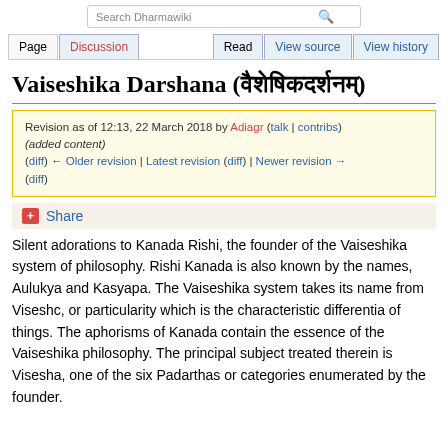Search Dharmawiki | Page | Discussion | Read | View source | View history
Vaiseshika Darshana (वैशेषिकदर्शनम्)
Revision as of 12:13, 22 March 2018 by Adiagr (talk | contribs) (added content)
(diff) ← Older revision | Latest revision (diff) | Newer revision → (diff)
Share
Silent adorations to Kanada Rishi, the founder of the Vaiseshika system of philosophy. Rishi Kanada is also known by the names, Aulukya and Kasyapa. The Vaiseshika system takes its name from Viseshc, or particularity which is the characteristic differentia of things. The aphorisms of Kanada contain the essence of the Vaiseshika philosophy. The principal subject treated therein is Visesha, one of the six Padarthas or categories enumerated by the founder.